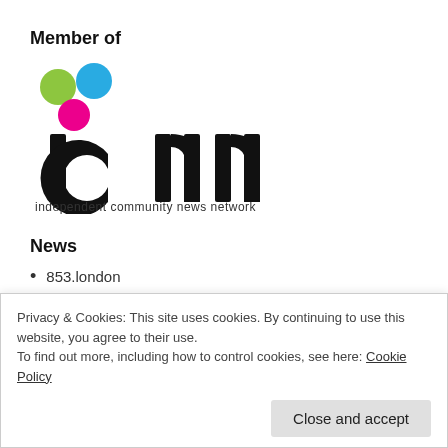Member of
[Figure (logo): ICNN logo — independent community news network. Three colored circles (green, blue, pink) above stylized lowercase letters 'icnn' in black, with tagline 'independent community news network' below.]
News
853.london
Camden New Journal
Privacy & Cookies: This site uses cookies. By continuing to use this website, you agree to their use.
To find out more, including how to control cookies, see here: Cookie Policy
Close and accept